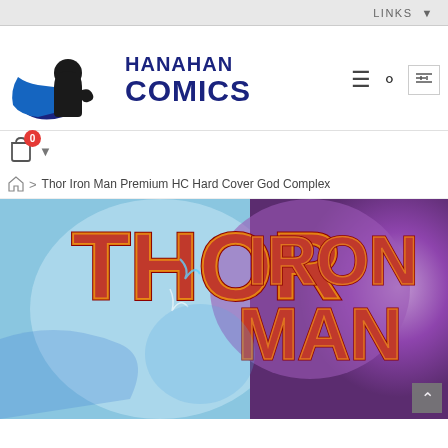LINKS
[Figure (logo): Hanahan Comics logo: superhero silhouette with blue cape on left, bold dark blue text 'HANAHAN COMICS' on right]
🏠 > Thor Iron Man Premium HC Hard Cover God Complex
[Figure (photo): Thor Iron Man Premium HC Hard Cover God Complex comic book cover showing 'THOR' in large red letters on left and 'IRON MAN' in red letters on right, with blue energy and purple background effects]